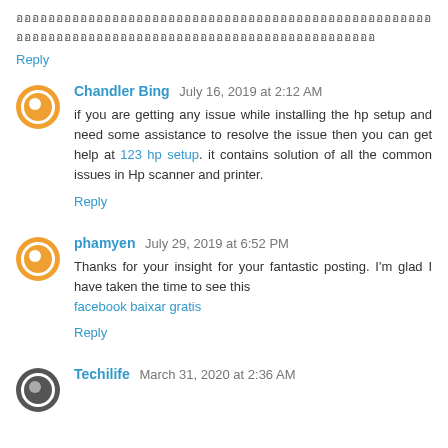อออออออออออออออออออออออออออออออออออออออออออออออออออออออออออออออออออออออออออออออออออออออออออออออออออออออออ
Reply
Chandler Bing July 16, 2019 at 2:12 AM
if you are getting any issue while installing the hp setup and need some assistance to resolve the issue then you can get help at 123 hp setup. it contains solution of all the common issues in Hp scanner and printer.
Reply
phamyen July 29, 2019 at 6:52 PM
Thanks for your insight for your fantastic posting. I'm glad I have taken the time to see this facebook baixar gratis
Reply
Techilife March 31, 2020 at 2:36 AM